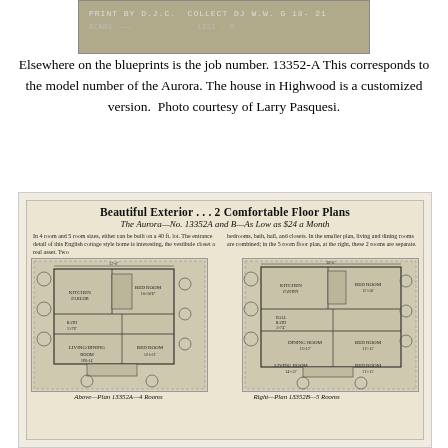[Figure (photo): Blueprint/document image showing job number text: PRINT BY D.J.C. COLLECT DJ W.W. G 18-21, with other text and numbers]
Elsewhere on the blueprints is the job number. 13352-A This corresponds to the model number of the Aurora. The house in Highwood is a customized version.  Photo courtesy of Larry Pasquesi.
[Figure (illustration): Vintage Sears catalog page for The Aurora No. 13352A and B showing two floor plans. Title: Beautiful Exterior ... 2 Comfortable Floor Plans. The Aurora—No. 13352A and B—As Low as $24 a Month. Left plan: Plan 13352A—4 Rooms. Right plan: Plan 13352B—5 Rooms. Descriptive text about 4 room and 5 room sizes, building on a 40 ft. lot, English cottage style, vestibule closet, bedrooms, bath, hall, closets, living and dining rooms.]